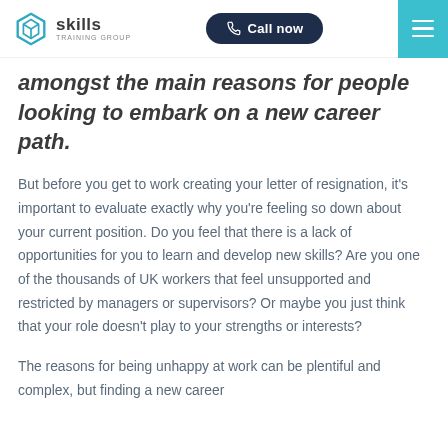Skills Training Group | Call now
amongst the main reasons for people looking to embark on a new career path.
But before you get to work creating your letter of resignation, it's important to evaluate exactly why you're feeling so down about your current position. Do you feel that there is a lack of opportunities for you to learn and develop new skills? Are you one of the thousands of UK workers that feel unsupported and restricted by managers or supervisors? Or maybe you just think that your role doesn't play to your strengths or interests?
The reasons for being unhappy at work can be plentiful and complex, but finding a new career